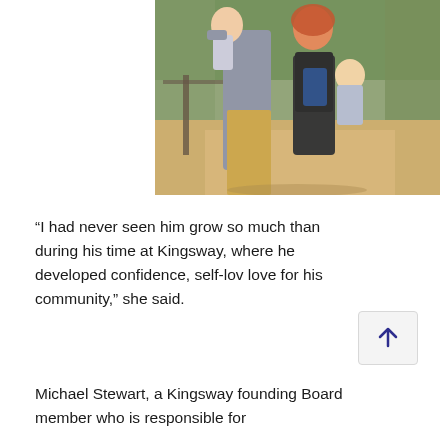[Figure (photo): Outdoor family photo showing a man in gray long-sleeve shirt and tan pants lifting a child, and a woman with red/auburn hair in a black dress holding a small blonde child, set in a wooded outdoor path area.]
“I had never seen him grow so much than during his time at Kingsway, where he developed confidence, self-love for his community,” she said.
Michael Stewart, a Kingsway founding Board member who is responsible for